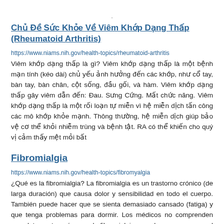Chủ Đề Sức Khỏe Về Viêm Khớp Dạng Thấp (Rheumatoid Arthritis)
https://www.niams.nih.gov/health-topics/rheumatoid-arthritis
Viêm khớp dạng thấp là gì? Viêm khớp dạng thấp là một bệnh mạn tính (kéo dài) chủ yếu ảnh hưởng đến các khớp, như cổ tay, bàn tay, bàn chân, cột sống, đầu gối, và hàm. Viêm khớp dạng thấp gây viêm dẫn đến: Đau. Sưng Cứng. Mất chức năng. Viêm khớp dạng thấp là một rối loạn tự miễn vì hệ miễn dịch tấn công các mô khớp khỏe mạnh. Thông thường, hệ miễn dịch giúp bảo vệ cơ thể khỏi nhiễm trùng và bệnh tật. RA có thể khiến cho quý vị cảm thấy mệt mỏi bất
Fibromialgia
https://www.niams.nih.gov/health-topics/fibromyalgia
¿Qué es la fibromialgia? La fibromialgia es un trastorno crónico (de larga duración) que causa dolor y sensibilidad en todo el cuerpo. También puede hacer que se sienta demasiado cansado (fatiga) y que tenga problemas para dormir. Los médicos no comprenden completamente qué causa la fibromialgia, pero las personas con el trastorno son más sensibles al dolor.